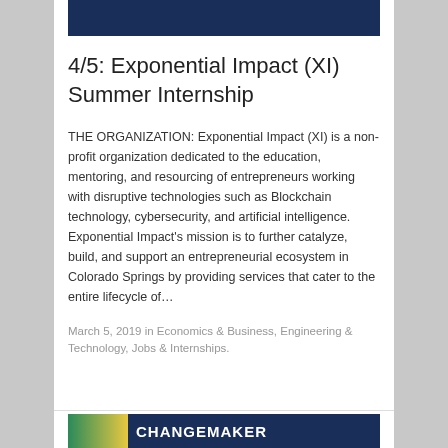[Figure (other): Dark navy blue banner image at top of article card]
4/5: Exponential Impact (XI) Summer Internship
THE ORGANIZATION: Exponential Impact (XI) is a non-profit organization dedicated to the education, mentoring, and resourcing of entrepreneurs working with disruptive technologies such as Blockchain technology, cybersecurity, and artificial intelligence. Exponential Impact's mission is to further catalyze, build, and support an entrepreneurial ecosystem in Colorado Springs by providing services that cater to the entire lifecycle of…
March 5, 2019 in Economics & Business, Engineering & Technology, Jobs & Internships.
[Figure (other): Changemaker banner image at bottom with teal/yellow gradient on left and navy background with CHANGEMAKER text]